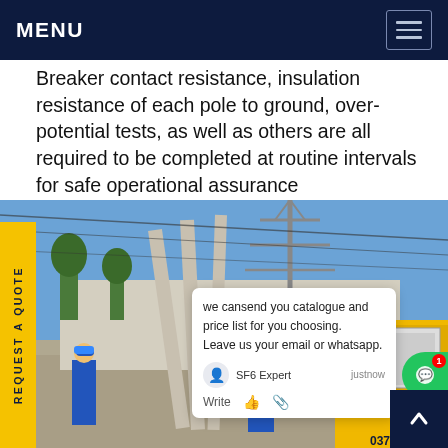MENU
Breaker contact resistance, insulation resistance of each pole to ground, over-potential tests, as well as others are all required to be completed at routine intervals for safe operational assurance
[Figure (photo): Workers in blue overalls and hard hats working at an electrical substation with high-voltage transmission towers, large concrete poles, and a yellow utility truck with equipment]
REQUEST A QUOTE
we cansend you catalogue and price list for you choosing.
Leave us your email or whatsapp.
SF6 Expert  justnow
Write